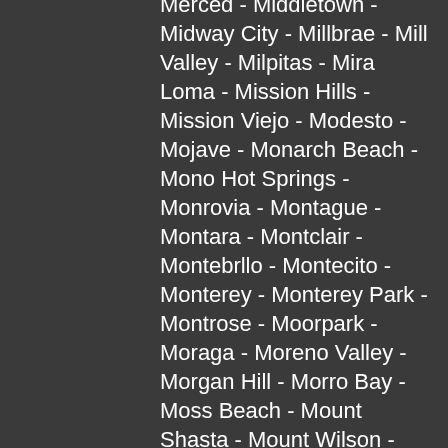Merced - Middletown - Midway City - Millbrae - Mill Valley - Milpitas - Mira Loma - Mission Hills - Mission Viejo - Modesto - Mojave - Monarch Beach - Mono Hot Springs - Monrovia - Montague - Montara - Montclair - Montebrllo - Montecito - Monterey - Monterey Park - Montrose - Moorpark - Moraga - Moreno Valley - Morgan Hill - Morro Bay - Moss Beach - Mount Shasta - Mount Wilson - Mountain Ranch - Mountain View - Murrieta - Napa - National City - Nevada City - New Almaden - Newark - Newbury Park - Newhall - Newport - Newport Beach - Nicasio - Nice - Nipomo - Norco - North Highlands - North Hollywood - North Manhattan Beach - Northridge - Norwalk - Novato - Oakdale - Oakhurst - Oakland - Oakley - Oak Park - Occidental - Oceanside - Ojai - Ontario - Orange - Orangevale - Oregon House - Orinda - Oroville - Oxnard - Pacheco - Pacifica - Pacific Beach - Pacific Grove - Pacific Palisades - Pacoima - Padadena - Palermo - Palmdale - Palm Desert - Palm